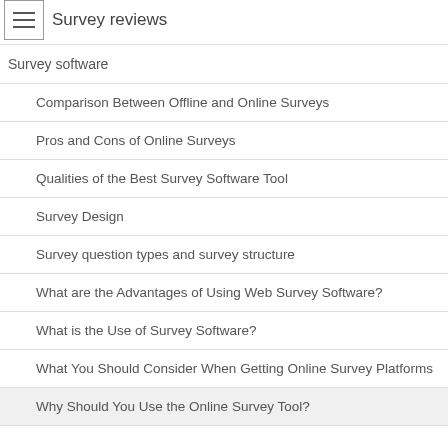Survey reviews
Survey software
Comparison Between Offline and Online Surveys
Pros and Cons of Online Surveys
Qualities of the Best Survey Software Tool
Survey Design
Survey question types and survey structure
What are the Advantages of Using Web Survey Software?
What is the Use of Survey Software?
What You Should Consider When Getting Online Survey Platforms
Why Should You Use the Online Survey Tool?